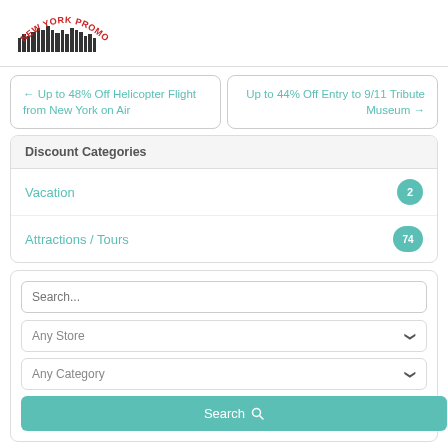[Figure (logo): New York Promo Codes logo with NYC skyline and arched red text]
← Up to 48% Off Helicopter Flight from New York on Air
Up to 44% Off Entry to 9/11 Tribute Museum →
Discount Categories
Vacation  2
Attractions / Tours  74
Search...
Any Store
Any Category
Search